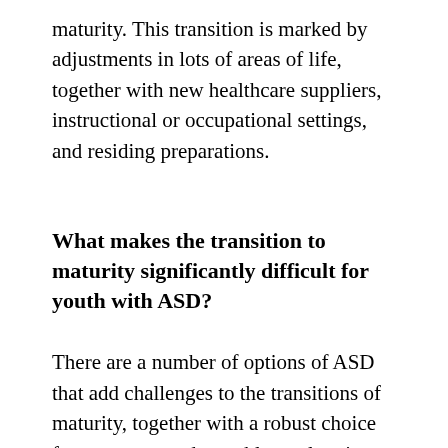maturity. This transition is marked by adjustments in lots of areas of life, together with new healthcare suppliers, instructional or occupational settings, and residing preparations.
What makes the transition to maturity significantly difficult for youth with ASD?
There are a number of options of ASD that add challenges to the transitions of maturity, together with a robust choice for sameness and a problem tolerating change. Communication difficulties can even complicate expressing misery or asking for assist. Younger adults with